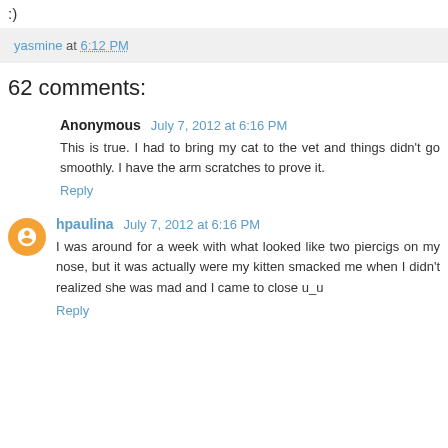:)
yasmine at 6:12 PM
62 comments:
Anonymous July 7, 2012 at 6:16 PM
This is true. I had to bring my cat to the vet and things didn't go smoothly. I have the arm scratches to prove it.
Reply
hpaulina July 7, 2012 at 6:16 PM
I was around for a week with what looked like two piercigs on my nose, but it was actually were my kitten smacked me when I didn't realized she was mad and I came to close u_u
Reply